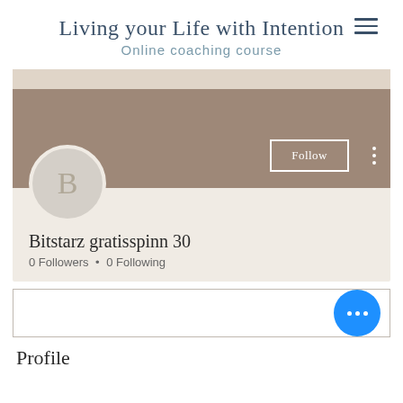Living your Life with Intention
Online coaching course
[Figure (screenshot): User profile card showing avatar with letter B, Follow button, three-dot menu, user name Bitstarz gratisspinn 30, 0 Followers and 0 Following stats, with brownish banner background and beige card area]
Bitstarz gratisspinn 30
0 Followers • 0 Following
Profile